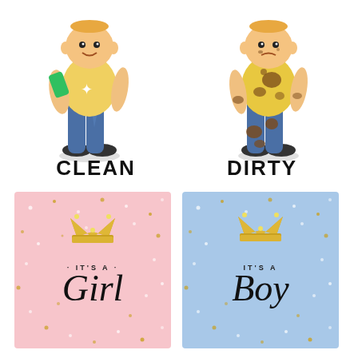[Figure (illustration): Two cartoon figures side by side. Left figure is clean with a yellow shirt, blue jeans, holding a green cloth, with sparkle effects. Right figure is dirty with a yellow muddy shirt, muddy blue jeans, brown stains.]
CLEAN
DIRTY
[Figure (illustration): Pink card with gold crown, white and gold star dots, text 'IT'S A Girl' in black script]
[Figure (illustration): Blue card with gold crown, white and gold star dots, text 'IT'S A Boy' in black script]